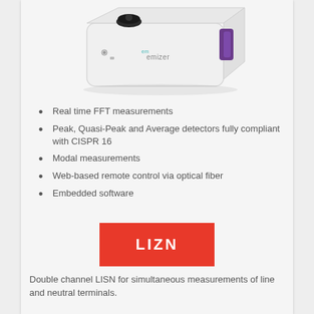[Figure (photo): White compact electronic measurement device (EMizer/emizer) with a black rotary knob on top, a purple handle/grip on the right side, and small connectors on the front face. The device is shown at an angle on a light gray background.]
Real time FFT measurements
Peak, Quasi-Peak and Average detectors fully compliant with CISPR 16
Modal measurements
Web-based remote control via optical fiber
Embedded software
LIZN
Double channel LISN for simultaneous measurements of line and neutral terminals.